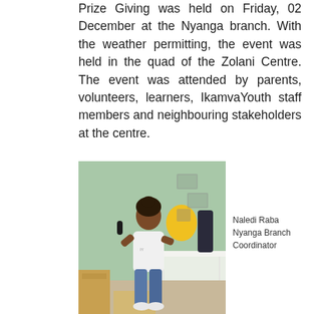Prize Giving was held on Friday, 02 December at the Nyanga branch. With the weather permitting, the event was held in the quad of the Zolani Centre. The event was attended by parents, volunteers, learners, IkamvaYouth staff members and neighbouring stakeholders at the centre.
[Figure (photo): A young woman standing and holding a microphone, wearing a white t-shirt and blue jeans, with a green wall behind her and a yellow balloon visible. Boxes and a table with a white tablecloth are visible in the background.]
Naledi Raba
Nyanga Branch Coordinator